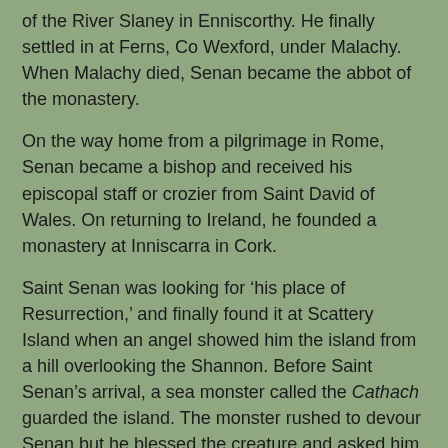of the River Slaney in Enniscorthy. He finally settled in at Ferns, Co Wexford, under Malachy. When Malachy died, Senan became the abbot of the monastery.
On the way home from a pilgrimage in Rome, Senan became a bishop and received his episcopal staff or crozier from Saint David of Wales. On returning to Ireland, he founded a monastery at Inniscarra in Cork.
Saint Senan was looking for ‘his place of Resurrection,’ and finally found it at Scattery Island when an angel showed him the island from a hill overlooking the Shannon. Before Saint Senan’s arrival, a sea monster called the Cathach guarded the island. The monster rushed to devour Senan but he blessed the creature and asked him to depart in the name of Jesus.
The angel promised Saint Senan that none of his monks would drown crossing the sea, and from this story has grown a legend that pebbles from the island would protect sailors against shipwreck.